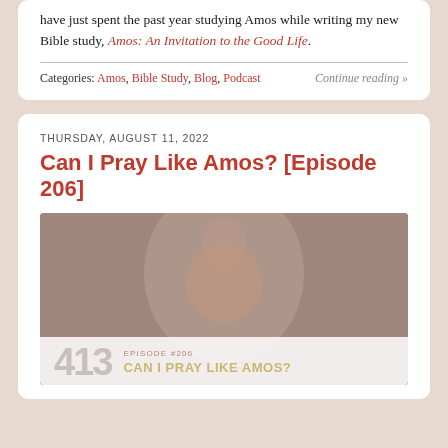have just spent the past year studying Amos while writing my new Bible study, Amos: An Invitation to the Good Life.
Categories: Amos, Bible Study, Blog, Podcast    Continue reading »
THURSDAY, AUGUST 11, 2022
Can I Pray Like Amos? [Episode 206]
[Figure (photo): A woman praying outdoors in a misty/foggy setting wearing a red top, with a podcast episode card overlay at the bottom showing '413', 'EPISODE #206', and 'CAN I PRAY LIKE AMOS?']